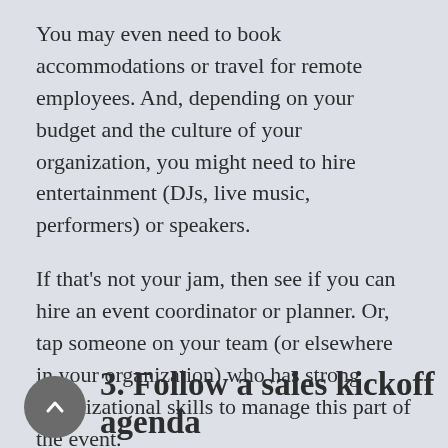You may even need to book accommodations or travel for remote employees. And, depending on your budget and the culture of your organization, you might need to hire entertainment (DJs, live music, performers) or speakers.
If that's not your jam, then see if you can hire an event coordinator or planner. Or, tap someone on your team (or elsewhere in your organization) who has strong organizational skills to manage this part of the event.
3. Follow a sales kickoff agenda